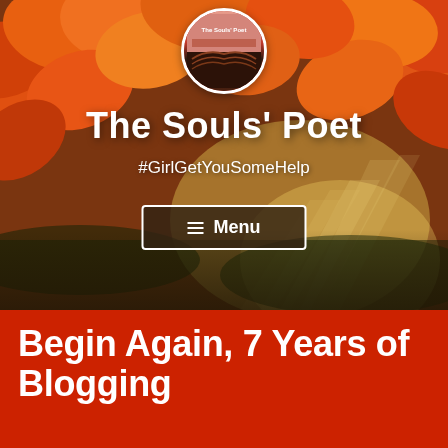[Figure (photo): Autumn leaves background with orange and red foliage, sunlight rays streaming through, with avatar of The Souls' Poet blog at top center]
The Souls' Poet
#GirlGetYouSomeHelp
≡ Menu
Begin Again, 7 Years of Blogging